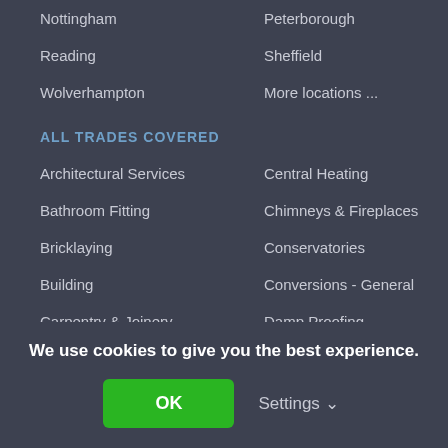Nottingham
Peterborough
Reading
Sheffield
Wolverhampton
More locations ...
ALL TRADES COVERED
Architectural Services
Central Heating
Bathroom Fitting
Chimneys & Fireplaces
Bricklaying
Conservatories
Building
Conversions - General
Carpentry & Joinery
Damp Proofing
We use cookies to give you the best experience.
OK
Settings